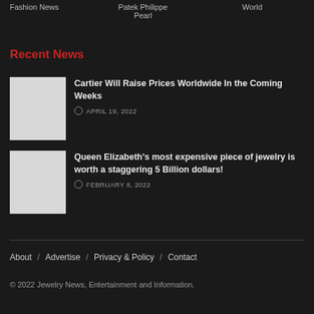Fashion News   Patek Philippe   Pearl   World
Recent News
[Figure (photo): Thumbnail image placeholder for Cartier article]
Cartier Will Raise Prices Worldwide In the Coming Weeks
APRIL 19, 2022
[Figure (photo): Thumbnail image placeholder for Queen Elizabeth article]
Queen Elizabeth's most expensive piece of jewelry is worth a staggering 5 Billion dollars!
FEBRUARY 8, 2022
About / Advertise / Privacy & Policy / Contact
© 2022 Jewelry News, Entertainment and Information.